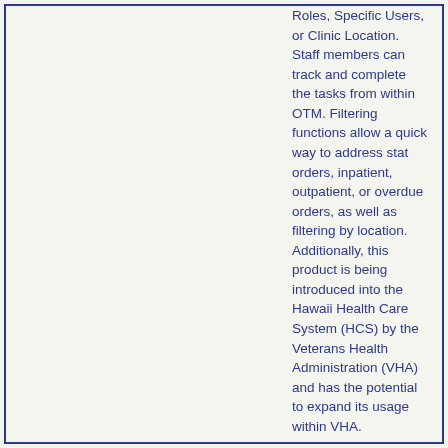Roles, Specific Users, or Clinic Location. Staff members can track and complete the tasks from within OTM. Filtering functions allow a quick way to address stat orders, inpatient, outpatient, or overdue orders, as well as filtering by location. Additionally, this product is being introduced into the Hawaii Health Care System (HCS) by the Veterans Health Administration (VHA) and has the potential to expand its usage within VHA.
DSS OTM uses a graphical user interface (GUI) application directly connected to VistA providing real-time